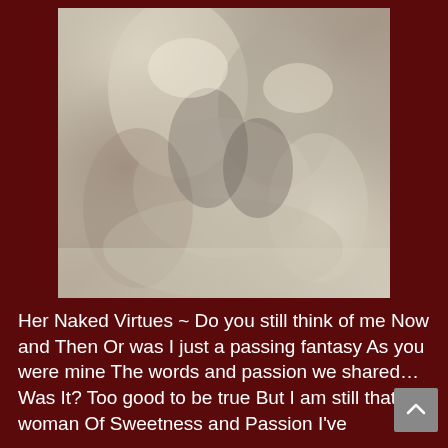[Figure (photo): Black and white artistic photograph showing abstract human forms/torsos in close-up with dramatic lighting and shadows]
Her Naked Virtues ~ Do you still think of me Now and Then Or was I just a passing fantasy As you were mine The words and passion we shared… Was It? Too good to be true But I am still that woman Of Sweetness and Passion I've